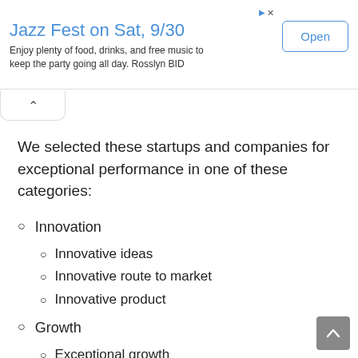[Figure (screenshot): Advertisement banner: Jazz Fest on Sat, 9/30 with Open button]
We selected these startups and companies for exceptional performance in one of these categories:
Innovation
Innovative ideas
Innovative route to market
Innovative product
Growth
Exceptional growth
Exceptional growth strategy